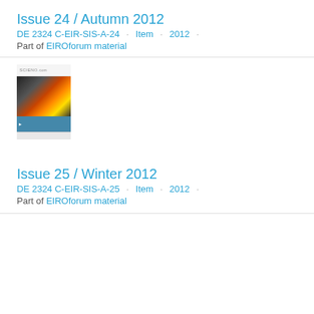Issue 24 / Autumn 2012
DE 2324 C-EIR-SIS-A-24 · Item · 2012 ·
Part of EIROforum material
[Figure (photo): Thumbnail image for Issue 24, showing a magazine cover with fire/flame imagery and the Scientia header]
Issue 25 / Winter 2012
DE 2324 C-EIR-SIS-A-25 · Item · 2012 ·
Part of EIROforum material
Issue 26 / Spring 2013